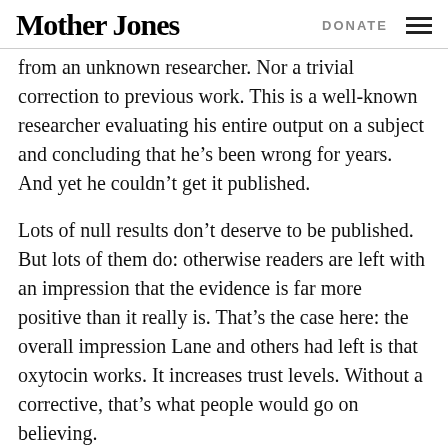Mother Jones | DONATE
from an unknown researcher. Nor a trivial correction to previous work. This is a well-known researcher evaluating his entire output on a subject and concluding that he’s been wrong for years. And yet he couldn’t get it published.
Lots of null results don’t deserve to be published. But lots of them do: otherwise readers are left with an impression that the evidence is far more positive than it really is. That’s the case here: the overall impression Lane and others had left is that oxytocin works. It increases trust levels. Without a corrective, that’s what people would go on believing.
Everyone knows about this problem. Everyone